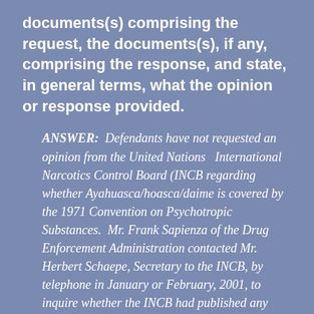documents(s) comprising the request, the documents(s), if any, comprising the response, and state, in general terms, what the opinion or response provided.
ANSWER:  Defendants have not requested an opinion from the United Nations   International Narcotics Control Board (INCB regarding whether Ayahuasca/hoasca/daime is covered by the 1971 Convention on Psychotropic Substances.  Mr. Frank Sapienza of the Drug Enforcement Administration contacted Mr. Herbert Schaepe, Secretary to the INCB, by telephone in January or February, 2001, to inquire whether the INCB had published any opinion on whether Ayahuasca was